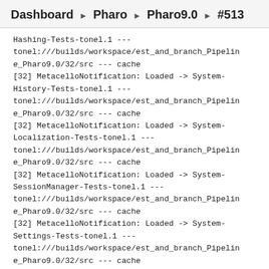Dashboard ▶ Pharo ▶ Pharo9.0 ▶ #513
Hashing-Tests-tonel.1 ---
tonel:///builds/workspace/est_and_branch_Pipeline_Pharo9.0/32/src --- cache
[32] MetacelloNotification: Loaded -> System-History-Tests-tonel.1 ---
tonel:///builds/workspace/est_and_branch_Pipeline_Pharo9.0/32/src --- cache
[32] MetacelloNotification: Loaded -> System-Localization-Tests-tonel.1 ---
tonel:///builds/workspace/est_and_branch_Pipeline_Pharo9.0/32/src --- cache
[32] MetacelloNotification: Loaded -> System-SessionManager-Tests-tonel.1 ---
tonel:///builds/workspace/est_and_branch_Pipeline_Pharo9.0/32/src --- cache
[32] MetacelloNotification: Loaded -> System-Settings-Tests-tonel.1 ---
tonel:///builds/workspace/est_and_branch_Pipeline_Pharo9.0/32/src --- cache
[32] MetacelloNotification: Loaded -> System-